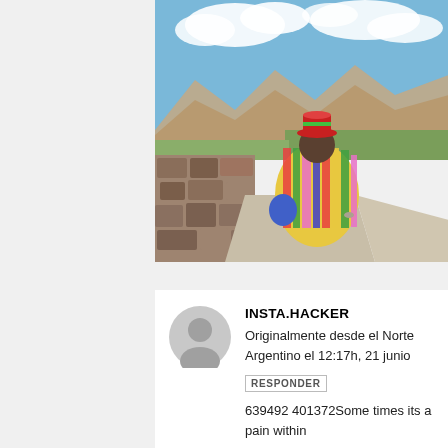[Figure (photo): A person sitting on a stone path wearing a colorful striped poncho and hat, viewed from behind, with mountains and blue sky in the background. Stone walls visible on the left side.]
INSTA.HACKER
Originalmente desde el Norte Argentino el 12:17h, 21 junio
RESPONDER
639492 401372Some times its a pain within